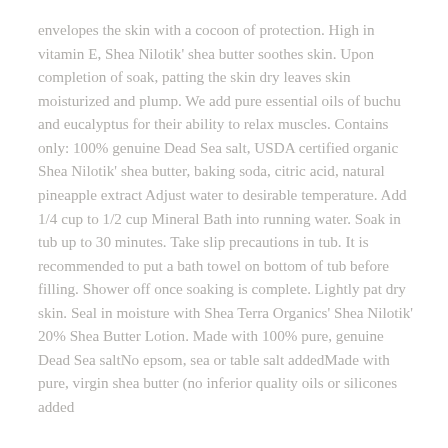envelopes the skin with a cocoon of protection. High in vitamin E, Shea Nilotik' shea butter soothes skin. Upon completion of soak, patting the skin dry leaves skin moisturized and plump. We add pure essential oils of buchu and eucalyptus for their ability to relax muscles. Contains only: 100% genuine Dead Sea salt, USDA certified organic Shea Nilotik' shea butter, baking soda, citric acid, natural pineapple extract Adjust water to desirable temperature. Add 1/4 cup to 1/2 cup Mineral Bath into running water. Soak in tub up to 30 minutes. Take slip precautions in tub. It is recommended to put a bath towel on bottom of tub before filling. Shower off once soaking is complete. Lightly pat dry skin. Seal in moisture with Shea Terra Organics' Shea Nilotik' 20% Shea Butter Lotion. Made with 100% pure, genuine Dead Sea saltNo epsom, sea or table salt addedMade with pure, virgin shea butter (no inferior quality oils or silicones added